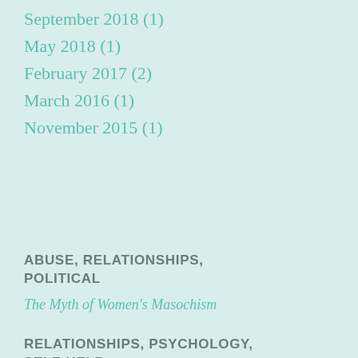September 2018 (1)
May 2018 (1)
February 2017 (2)
March 2016 (1)
November 2015 (1)
ABUSE, RELATIONSHIPS, POLITICAL
The Myth of Women's Masochism
RELATIONSHIPS, PSYCHOLOGY, SELF-HELP